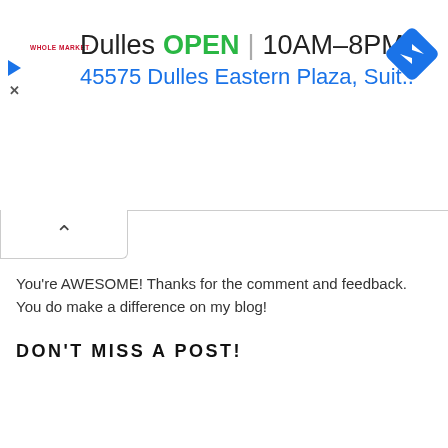[Figure (screenshot): Google Maps / local business ad banner showing 'Dulles OPEN 10AM–8PM' with address '45575 Dulles Eastern Plaza, Suit..' and a blue navigation diamond icon, along with a Whole Foods Market logo, play button icon, and close icon.]
[Figure (other): Collapsed tab UI element with an upward-pointing chevron arrow, indicating the ad banner can be collapsed.]
You're AWESOME! Thanks for the comment and feedback. You do make a difference on my blog!
DON'T MISS A POST!